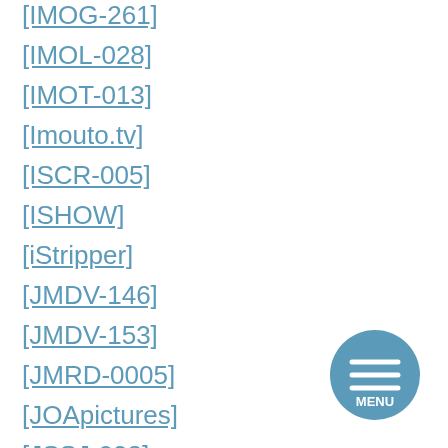[IMOG-261]
[IMOL-028]
[IMOT-013]
[Imouto.tv]
[ISCR-005]
[ISHOW]
[iStripper]
[JMDV-146]
[JMDV-153]
[JMRD-0005]
[JOApictures]
[JSSJ-038]
[JSSJ-041]